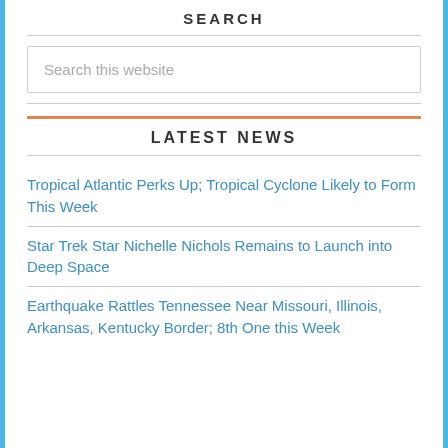SEARCH
Search this website
LATEST NEWS
Tropical Atlantic Perks Up; Tropical Cyclone Likely to Form This Week
Star Trek Star Nichelle Nichols Remains to Launch into Deep Space
Earthquake Rattles Tennessee Near Missouri, Illinois, Arkansas, Kentucky Border; 8th One this Week